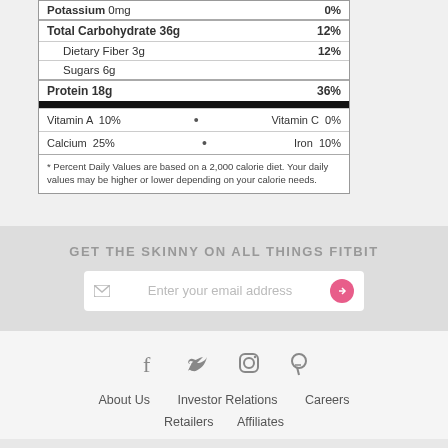| Nutrient | Amount | % DV |
| --- | --- | --- |
| Potassium | 0mg | 0% |
| Total Carbohydrate | 36g | 12% |
| Dietary Fiber | 3g | 12% |
| Sugars | 6g |  |
| Protein | 18g | 36% |
Vitamin A 10%   •   Vitamin C 0%
Calcium 25%   •   Iron 10%
* Percent Daily Values are based on a 2,000 calorie diet. Your daily values may be higher or lower depending on your calorie needs.
GET THE SKINNY ON ALL THINGS FITBIT
Enter your email address
[Figure (other): Social media icons: Facebook, Twitter, Instagram, Pinterest]
About Us   Investor Relations   Careers
Retailers   Affiliates